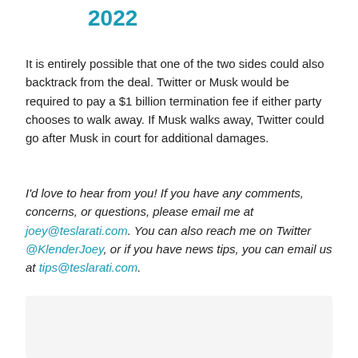2022
It is entirely possible that one of the two sides could also backtrack from the deal. Twitter or Musk would be required to pay a $1 billion termination fee if either party chooses to walk away. If Musk walks away, Twitter could go after Musk in court for additional damages.
I’d love to hear from you! If you have any comments, concerns, or questions, please email me at joey@teslarati.com. You can also reach me on Twitter @KlenderJoey, or if you have news tips, you can email us at tips@teslarati.com.
[Figure (photo): Sponsored advertisement image showing top of a person's head with grey/silver hair against a blurred colorful background.]